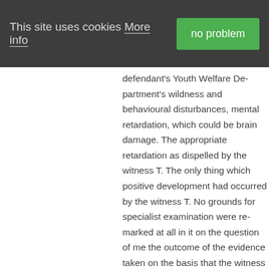This site uses cookies More info | no problem
defendant's Youth Welfare Department's wildness and behavioural disturbances, mental retardation, which could be brain damage. The appropriate retardation as dispelled by the witness T. The only thing which positive development had occurred by the witness T. No grounds for specialist examination were remarked at all in it on the question of mental the outcome of the evidence taken on the basis that the witness T was not a psychiatrist, but a psychologist memorandum of the 4th December and no mental handicap could be heard on this issue made contention expressed himself in this way to himself to the witness M. as shown